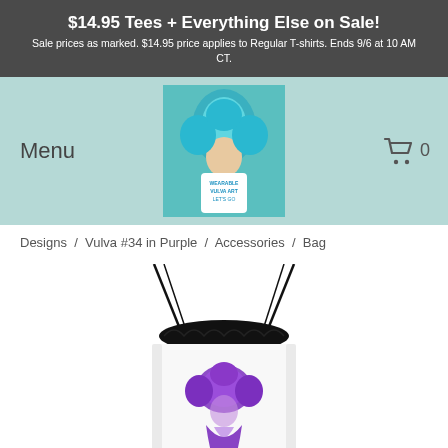$14.95 Tees + Everything Else on Sale! Sale prices as marked. $14.95 price applies to Regular T-shirts. Ends 9/6 at 10 AM CT.
[Figure (screenshot): Navigation bar with Menu text, store logo image of person with teal hair, and shopping cart icon with 0]
Designs / Vulva #34 in Purple / Accessories / Bag
[Figure (photo): White drawstring bag with purple illustrated design, black drawstring cords at top]